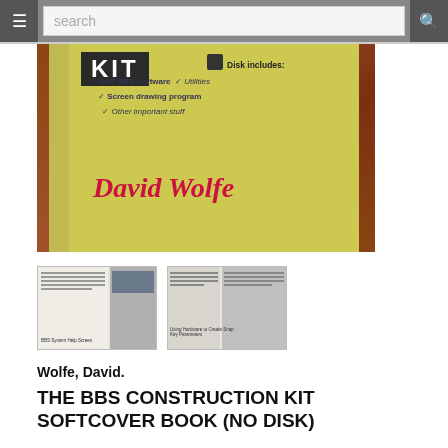search
[Figure (photo): Photo of a book cover - THE BBS CONSTRUCTION KIT by David Wolfe. Yellow/green cover showing disk includes: GAP BBS Software, Utilities, Screen drawing program, Other important stuff. Author name 'David Wolfe' in red italic text.]
[Figure (photo): Two thumbnail images of interior book pages showing text and content]
Wolfe, David.
THE BBS CONSTRUCTION KIT SOFTCOVER BOOK (NO DISK)